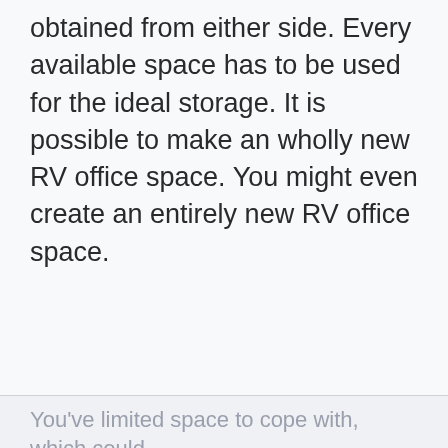obtained from either side. Every available space has to be used for the ideal storage. It is possible to make an wholly new RV office space. You might even create an entirely new RV office space.
You've limited space to cope with, which could